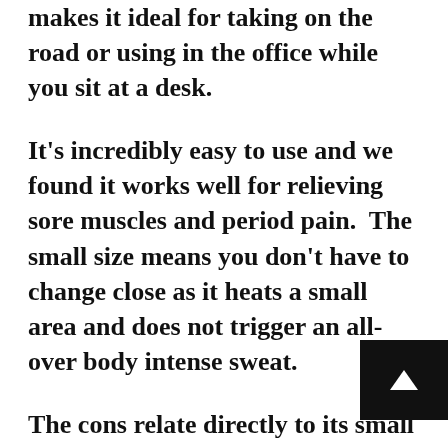makes it ideal for taking on the road or using in the office while you sit at a desk.
It's incredibly easy to use and we found it works well for relieving sore muscles and period pain.  The small size means you don't have to change close as it heats a small area and does not trigger an all-over body intense sweat.
The cons relate directly to its small size and targeted therapy.  If you are looking for a mat that heats your whole body and